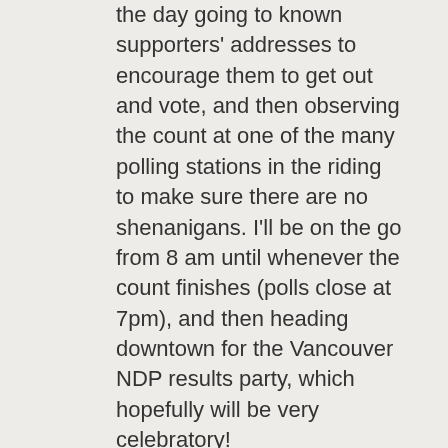the day going to known supporters' addresses to encourage them to get out and vote, and then observing the count at one of the many polling stations in the riding to make sure there are no shenanigans. I'll be on the go from 8 am until whenever the count finishes (polls close at 7pm), and then heading downtown for the Vancouver NDP results party, which hopefully will be very celebratory!
If Harper retains power I will no doubt feel like I should have done more. Hopefully it won't come to that. I'd obviously prefer Mulcair over Liberal leader Trudeau, but if Trudeau's our prime minister on Tuesday morning it will be such an improvement over Harper that it'll be hard to feel too disappointed about it! Especially if he's heading a minority government with support from the NDP and Greens